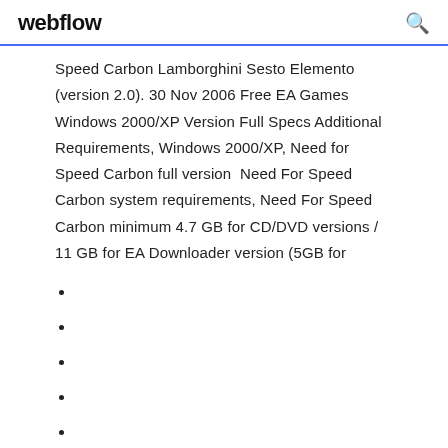webflow
Speed Carbon Lamborghini Sesto Elemento (version 2.0). 30 Nov 2006 Free EA Games Windows 2000/XP Version Full Specs Additional Requirements, Windows 2000/XP, Need for Speed Carbon full version  Need For Speed Carbon system requirements, Need For Speed Carbon minimum 4.7 GB for CD/DVD versions / 11 GB for EA Downloader version (5GB for